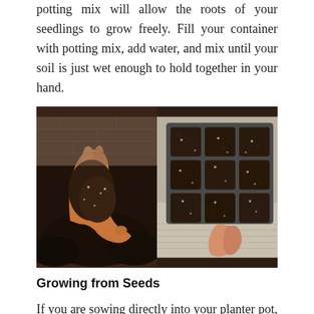potting mix will allow the roots of your seedlings to grow freely. Fill your container with potting mix, add water, and mix until your soil is just wet enough to hold together in your hand.
[Figure (photo): Two photos side by side: left photo shows a gloved hand holding moist dark potting soil; right photo shows a seed tray with multiple cells filled with dark potting mix.]
Growing from Seeds
If you are sowing directly into your planter pot, sow between 3-4 basil seeds, 10-12cm apart. Cover the pot with a dome or plastic cover (this will help keep the moisture). Basil is quick to germinate in our warm